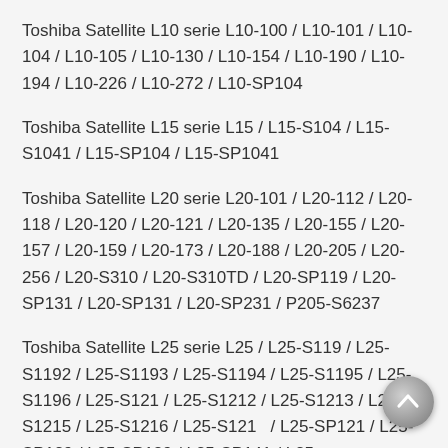Toshiba Satellite L10 serie L10-100 / L10-101 / L10-104 / L10-105 / L10-130 / L10-154 / L10-190 / L10-194 / L10-226 / L10-272 / L10-SP104
Toshiba Satellite L15 serie L15 / L15-S104 / L15-S1041 / L15-SP104 / L15-SP1041
Toshiba Satellite L20 serie L20-101 / L20-112 / L20-118 / L20-120 / L20-121 / L20-135 / L20-155 / L20-157 / L20-159 / L20-173 / L20-188 / L20-205 / L20-256 / L20-S310 / L20-S310TD / L20-SP119 / L20-SP131 / L20-SP131 / L20-SP231 / P205-S6237
Toshiba Satellite L25 serie L25 / L25-S119 / L25-S1192 / L25-S1193 / L25-S1194 / L25-S1195 / L25-S1196 / L25-S121 / L25-S1212 / L25-S1213 / L25-S1215 / L25-S1216 / L25-S1217 / L25-SP121 / L25-SP129 / L25-SP139 / L25-SP141 / L25-